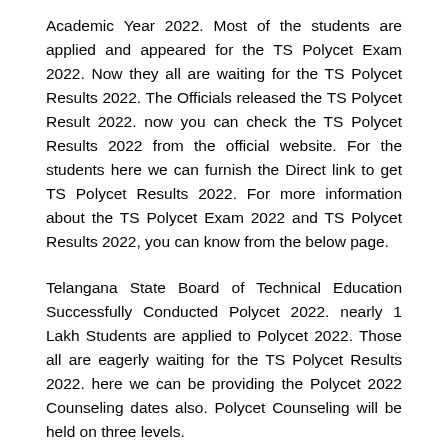Academic Year 2022. Most of the students are applied and appeared for the TS Polycet Exam 2022. Now they all are waiting for the TS Polycet Results 2022. The Officials released the TS Polycet Result 2022. now you can check the TS Polycet Results 2022 from the official website. For the students here we can furnish the Direct link to get TS Polycet Results 2022. For more information about the TS Polycet Exam 2022 and TS Polycet Results 2022, you can know from the below page.
Telangana State Board of Technical Education Successfully Conducted Polycet 2022. nearly 1 Lakh Students are applied to Polycet 2022. Those all are eagerly waiting for the TS Polycet Results 2022. here we can be providing the Polycet 2022 Counseling dates also. Polycet Counseling will be held on three levels.